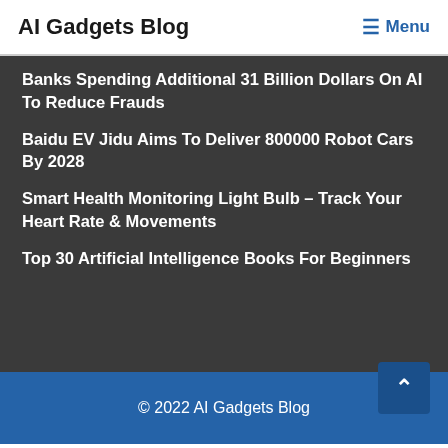AI Gadgets Blog
Banks Spending Additional 31 Billion Dollars On AI To Reduce Frauds
Baidu EV Jidu Aims To Deliver 800000 Robot Cars By 2028
Smart Health Monitoring Light Bulb – Track Your Heart Rate & Movements
Top 30 Artificial Intelligence Books For Beginners
© 2022 AI Gadgets Blog